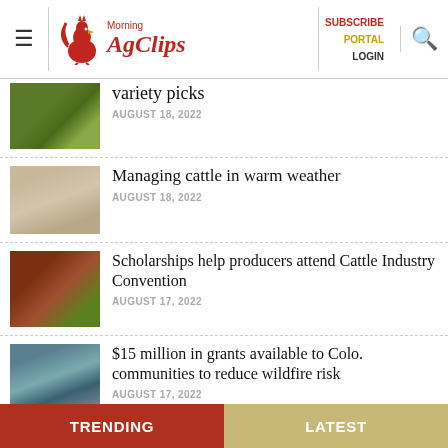Morning AgClips — SUBSCRIBE PORTAL LOGIN
variety picks
AUGUST 18, 2022
Managing cattle in warm weather
AUGUST 18, 2022
Scholarships help producers attend Cattle Industry Convention
AUGUST 17, 2022
$15 million in grants available to Colo. communities to reduce wildfire risk
AUGUST 17, 2022
TRENDING
LATEST